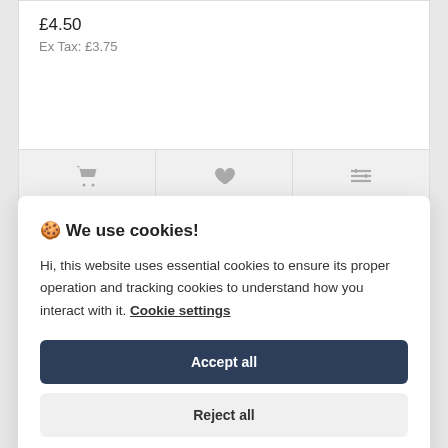£4.50
Ex Tax: £3.75
[Figure (other): Three icon buttons: shopping cart, heart/wishlist, and compare sliders]
🍪 We use cookies!
Hi, this website uses essential cookies to ensure its proper operation and tracking cookies to understand how you interact with it. Cookie settings
Accept all
Reject all